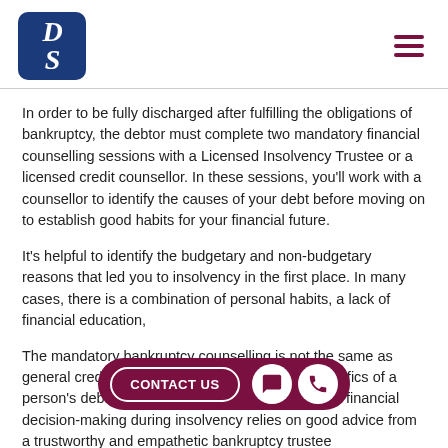DS logo and navigation menu
In order to be fully discharged after fulfilling the obligations of bankruptcy, the debtor must complete two mandatory financial counselling sessions with a Licensed Insolvency Trustee or a licensed credit counsellor. In these sessions, you'll work with a counsellor to identify the causes of your debt before moving on to establish good habits for your financial future.
It's helpful to identify the budgetary and non-budgetary reasons that led you to insolvency in the first place. In many cases, there is a combination of personal habits, a lack of financial education,
The mandatory bankruptcy counselling is not the same as general credit counselling. Depending on the specifics of a person's debt, ... ther with the help of a ... person's financial decision-making during insolvency relies on good advice from a trustworthy and empathetic bankruptcy trustee